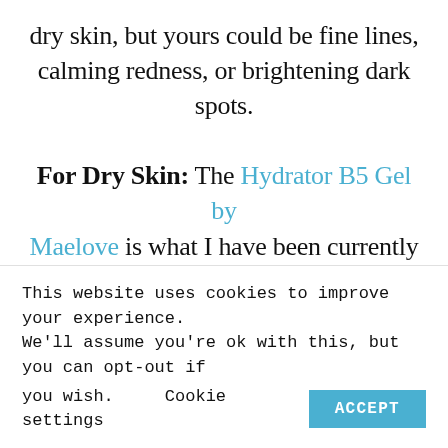dry skin, but yours could be fine lines, calming redness, or brightening dark spots.

For Dry Skin: The Hydrator B5 Gel by Maelove is what I have been currently using. When dealing with dry skin it is super important to find a serum that has hyaluronic acid in it which brings moister back to your face and seals it in. If you want to splurge this Revision Hydrating Serum is one of the best on the market.  One last serum to add is the Ordinary Hylaeuronic Acid 2% serum. It is
This website uses cookies to improve your experience. We'll assume you're ok with this, but you can opt-out if you wish.    Cookie settings    ACCEPT